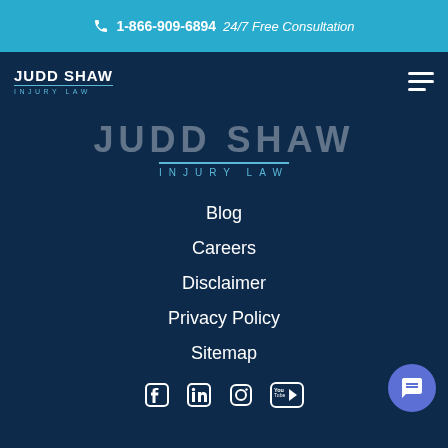1-866-909-6894  24/7 Free Consultation
[Figure (logo): Judd Shaw Injury Law logo - small version in navigation bar]
[Figure (logo): Judd Shaw Injury Law large watermark logo centered on dark blue background]
Blog
Careers
Disclaimer
Privacy Policy
Sitemap
[Figure (other): Social media icons: Facebook, LinkedIn, Instagram, YouTube]
Phone | Back to top | Email